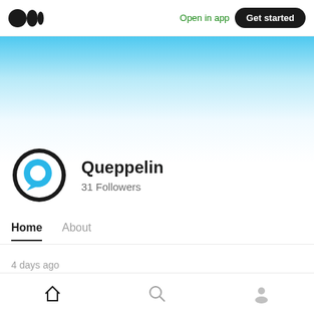Medium logo | Open in app | Get started
[Figure (illustration): Light blue gradient banner/header background fading from sky blue at top to white at bottom]
[Figure (logo): Queppelin profile avatar: circular black ring with a blue speech bubble / Q logo inside]
Queppelin
31 Followers
Home   About
4 days ago
Home | Search | Profile icons in bottom navigation bar